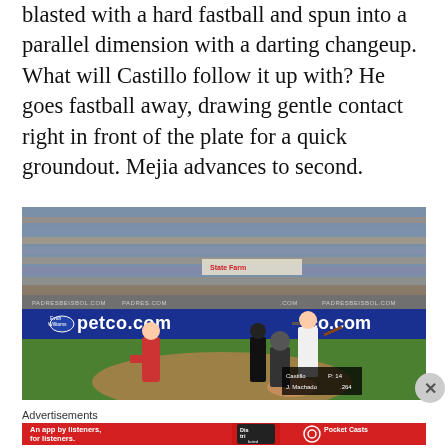blasted with a hard fastball and spun into a parallel dimension with a darting changeup. What will Castillo follow it up with? He goes fastball away, drawing gentle contact right in front of the plate for a quick groundout. Mejia advances to second.
[Figure (photo): Baseball game photo showing a pitcher throwing to a batter at home plate, with a catcher and umpire behind the plate. Stadium crowd visible in stands. Petco.com and State Farm advertising banners visible. Scorecard overlay shows Castillo P: 14 and Machado .264.]
Advertisements
[Figure (screenshot): Red advertisement banner for Pocket Casts app reading 'An app by listeners, for listeners.' with Pocket Casts logo and a phone showing 'Distributed' text.]